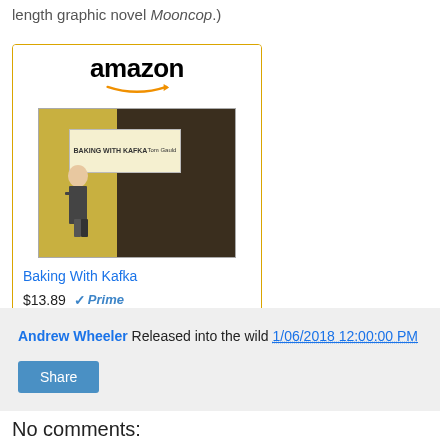length graphic novel Mooncop.)
[Figure (screenshot): Amazon product widget showing 'Baking With Kafka' book for $13.89 with Prime badge and Shop now button]
Andrew Wheeler Released into the wild 1/06/2018 12:00:00 PM
Share
No comments: